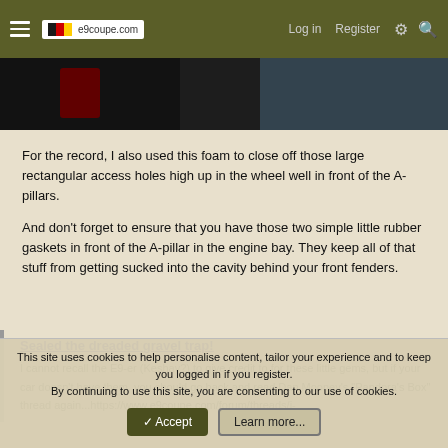e9coupe.com — Log in | Register
[Figure (photo): Partial view of a car interior/exterior photograph, dark tones with some blue and red visible]
For the record, I also used this foam to close off those large rectangular access holes high up in the wheel well in front of the A-pillars.
And don't forget to ensure that you have those two simple little rubber gaskets in front of the A-pillar in the engine bay. They keep all of that stuff from getting sucked into the cavity behind your front fenders.
Sealed the dreaded gravel trap!
I cannot recall the E9-er (Keshav?) to give credit to for these little gems, but if your car doesn't have them, you should go back and read Dan Mooney's "Pandora's Box" thread again...https://www.e9coupe.com/forum/threads/i-
This site uses cookies to help personalise content, tailor your experience and to keep you logged in if you register.
By continuing to use this site, you are consenting to our use of cookies.